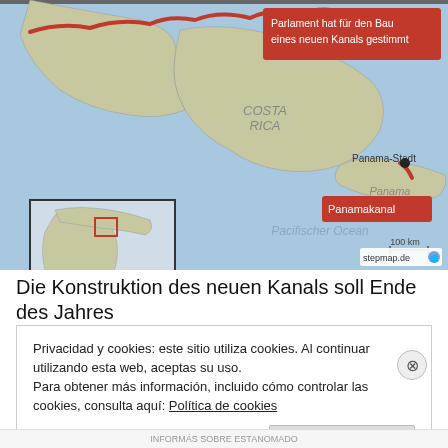[Figure (map): Map of Central America showing Nicaragua, Costa Rica, and Panama. A red wavy line indicates a proposed new canal route across Nicaragua. A label reads 'Parlament hat für den Bau eines neuen Kanals gestimmt'. The existing Panamakanal (Panama Canal) is shown near Panama-Stadt. An inset map shows the region's location in the Americas. Scale bar shows 100 km. Source: stepmap.de]
Die Konstruktion des neuen Kanals soll Ende des Jahres
Privacidad y cookies: este sitio utiliza cookies. Al continuar utilizando esta web, aceptas su uso.
Para obtener más información, incluido cómo controlar las cookies, consulta aquí: Política de cookies
Cerrar y aceptar